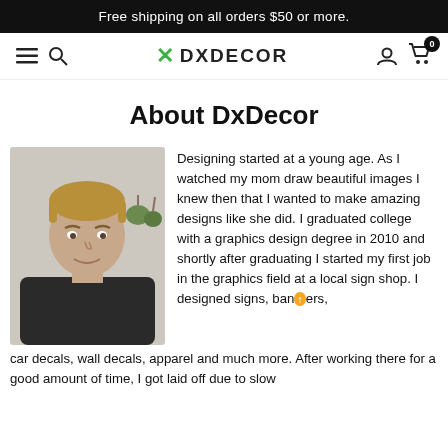Free shipping on all orders $50 or more.
DXDECOR
About DxDecor
[Figure (photo): Portrait photo of a young man with short blond hair wearing a dark jacket, standing against a light background with some hanging plants visible.]
Designing started at a young age. As I watched my mom draw beautiful images I knew then that I wanted to make amazing designs like she did. I graduated college with a graphics design degree in 2010 and shortly after graduating I started my first job in the graphics field at a local sign shop. I designed signs, banners, car decals, wall decals, apparel and much more. After working there for a good amount of time, I got laid off due to slow